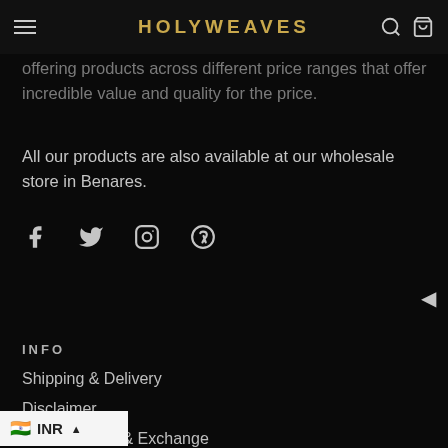HOLYWEAVES
offering products across different price ranges that offer incredible value and quality for the price.
All our products are also available at our wholesale store in Benares.
[Figure (infographic): Social media icons row: Facebook, Twitter, Instagram, Pinterest]
INFO
Shipping & Delivery
Disclaimer
Cancellations & Exchange
INR (India flag, currency selector widget)